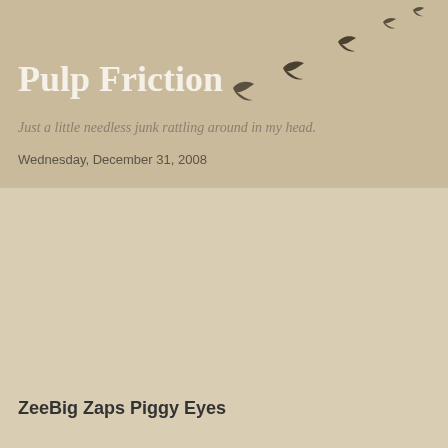Pulp Friction
Just a little needless junk rattling around in my head.
Wednesday, December 31, 2008
[Figure (illustration): Silhouettes of birds flying in a curved formation against a tan/beige background]
ZeeBig Zaps Piggy Eyes